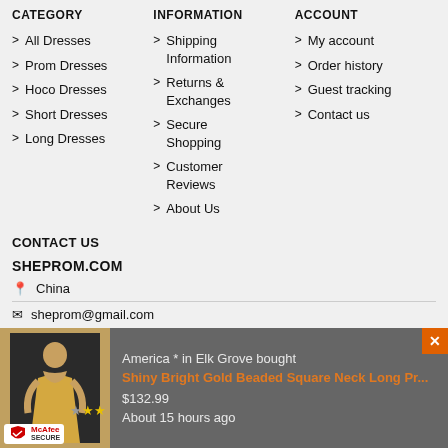CATEGORY
All Dresses
Prom Dresses
Hoco Dresses
Short Dresses
Long Dresses
INFORMATION
Shipping Information
Returns & Exchanges
Secure Shopping
Customer Reviews
About Us
ACCOUNT
My account
Order history
Guest tracking
Contact us
CONTACT US
SHEPROM.COM
China
sheprom@gmail.com
[Figure (screenshot): Popup notification: America * in Elk Grove bought Shiny Bright Gold Beaded Square Neck Long Pr... $132.99 About 15 hours ago. Shows a gold dress image with McAfee SECURE badge and star rating. Close button (X) in orange top right.]